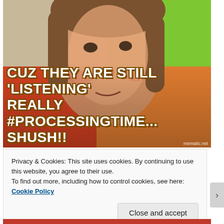[Figure (photo): Internet meme image showing a boy with a colorful background (red, green, orange, tan quadrants). Bold white Impact-font text at the bottom reads: 'CUZ THEY ARE STILL 'LISTENING' REALLY #PROCESSINGTIME... SHUSH!!' with a mematic.net watermark.]
Privacy & Cookies: This site uses cookies. By continuing to use this website, you agree to their use.
To find out more, including how to control cookies, see here: Cookie Policy
Close and accept